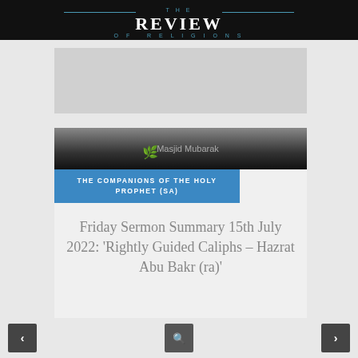THE REVIEW OF RELIGIONS
[Figure (photo): Advertisement placeholder banner (gray rectangle)]
[Figure (photo): Masjid Mubarak – dark gradient banner image with mosque photo and leaf icon]
THE COMPANIONS OF THE HOLY PROPHET (SA)
Friday Sermon Summary 15th July 2022: 'Rightly Guided Caliphs – Hazrat Abu Bakr (ra)'
15th July 2022
< navigation | search | >